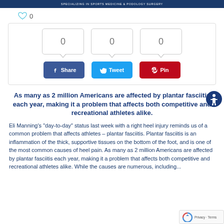SPECIALIZING IN SPORTS MEDICINE & PODOLOGY SURGERY
[Figure (other): Heart/like icon with count 0]
[Figure (infographic): Social share box with counters showing 0, 0, 0 and Share, Tweet, Pin buttons]
As many as 2 million Americans are affected by plantar fasciitis each year, making it a problem that affects both competitive and recreational athletes alike.
Eli Manning's “day-to-day” status last week with a right heel injury reminds us of a common problem that affects athletes – plantar fasciitis. Plantar fasciitis is an inflammation of the thick, supportive tissues on the bottom of the foot, and is one of the most common causes of heel pain. As many as 2 million Americans are affected by plantar fasciitis each year, making it a problem that affects both competitive and recreational athletes alike. While the causes are numerous, including...